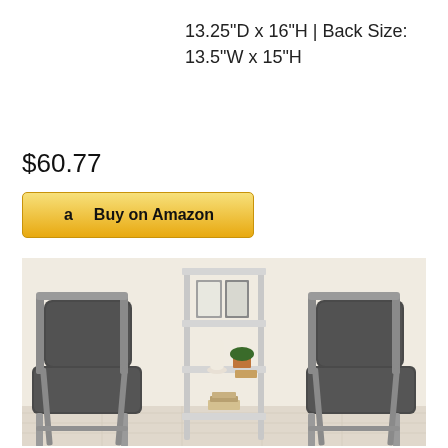13.25"D x 16"H | Back Size: 13.5"W x 15"H
$60.77
[Figure (other): Amazon Buy on Amazon button with yellow/gold gradient background]
[Figure (photo): Two dark grey padded folding chairs flanking a white 3-tier metal shelf unit with decorative items, against a light beige wall]